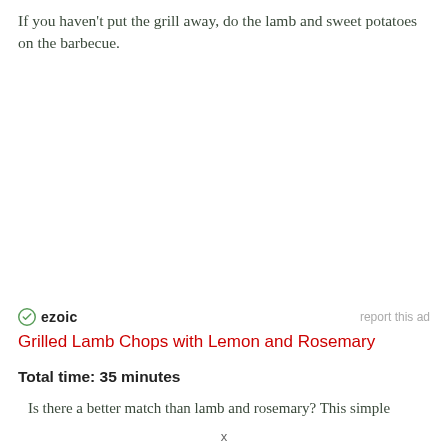If you haven't put the grill away, do the lamb and sweet potatoes on the barbecue.
[Figure (other): Ezoic advertisement placeholder with ezoic logo and 'report this ad' link]
Grilled Lamb Chops with Lemon and Rosemary
Total time: 35 minutes
Is there a better match than lamb and rosemary? This simple